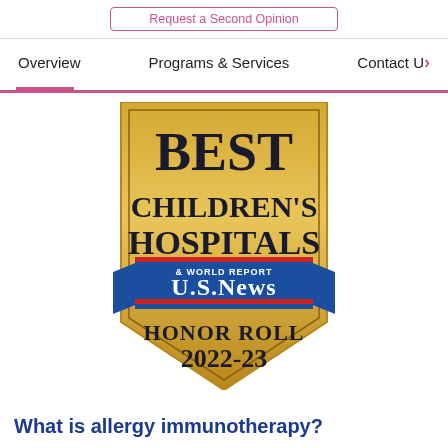Request a Second Opinion | Overview | Programs & Services | Contact U
[Figure (logo): U.S. News & World Report Best Children's Hospitals Honor Roll 2022-23 badge/shield logo in gold with blue ribbon banner]
What is allergy immunotherapy?